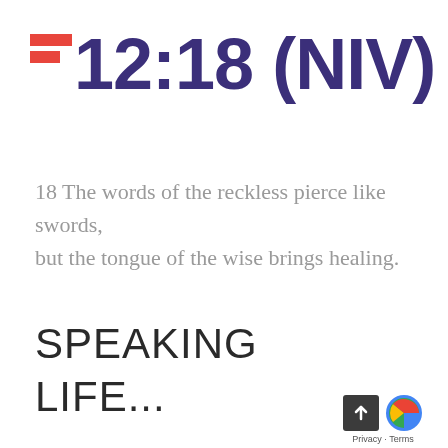12:18 (NIV)
18 The words of the reckless pierce like swords, but the tongue of the wise brings healing.
SPEAKING LIFE...
Privacy · Terms